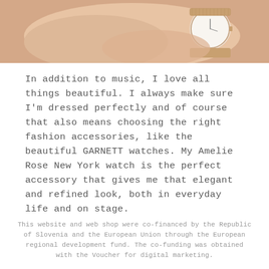[Figure (photo): Close-up photo of a woman's wrist wearing a rose gold mesh strap watch with a white dial, against a light/cream background.]
In addition to music, I love all things beautiful. I always make sure I'm dressed perfectly and of course that also means choosing the right fashion accessories, like the beautiful GARNETT watches. My Amelie Rose New York watch is the perfect accessory that gives me that elegant and refined look, both in everyday life and on stage.
This website and web shop were co-financed by the Republic of Slovenia and the European Union through the European regional development fund. The co-funding was obtained with the Voucher for digital marketing.